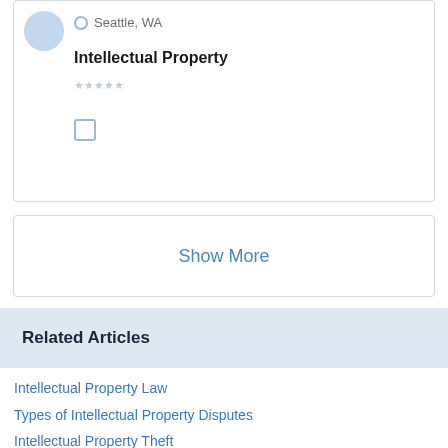Seattle, WA
Intellectual Property
Show More
Related Articles
Intellectual Property Law
Types of Intellectual Property Disputes
Intellectual Property Theft
Intellectual Property Fraud
Intellectual Property Fraud Defenses
How to Find an Intellectual Property Lawyer
What Is Intellectual Property Valuation?